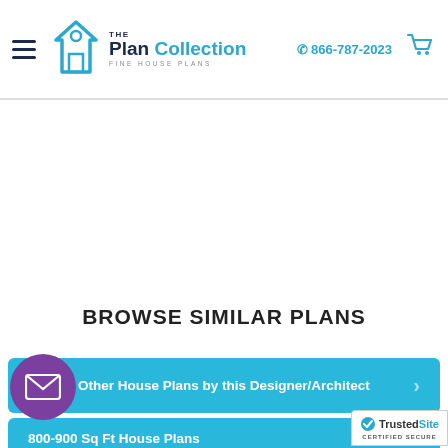The Plan Collection - Fine House Plans | 866-787-2023
BROWSE SIMILAR PLANS
Other House Plans by this Designer/Architect
800-900 Sq Ft House Plans